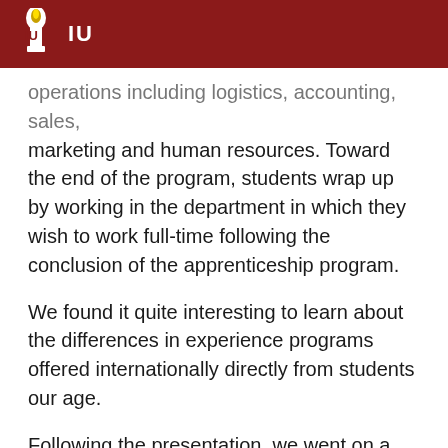IU
operations including logistics, accounting, sales, marketing and human resources. Toward the end of the program, students wrap up by working in the department in which they wish to work full-time following the conclusion of the apprenticeship program.
We found it quite interesting to learn about the differences in experience programs offered internationally directly from students our age.
Following the presentation, we went on a guided tour of the company's innovation center: Specifically, the diaper innovation center. The facility was designed around adapting to the needs of their specific consumer – a mother. Diapers go through continuous testing to ensure the company remains on top of the game in terms of